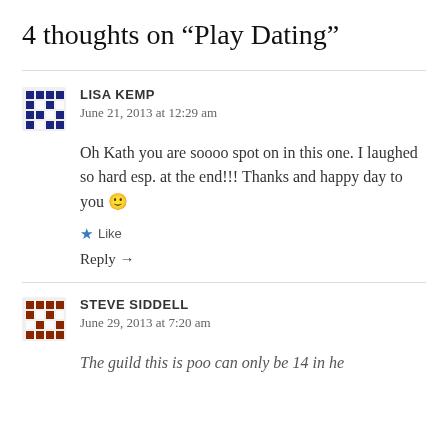4 thoughts on “Play Dating”
LISA KEMP
June 21, 2013 at 12:29 am
Oh Kath you are soooo spot on in this one. I laughed so hard esp. at the end!!! Thanks and happy day to you 🙂
★ Like
Reply →
STEVE SIDDELL
June 29, 2013 at 7:20 am